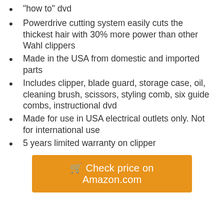"how to" dvd
Powerdrive cutting system easily cuts the thickest hair with 30% more power than other Wahl clippers
Made in the USA from domestic and imported parts
Includes clipper, blade guard, storage case, oil, cleaning brush, scissors, styling comb, six guide combs, instructional dvd
Made for use in USA electrical outlets only. Not for international use
5 years limited warranty on clipper
🛒 Check price on Amazon.com